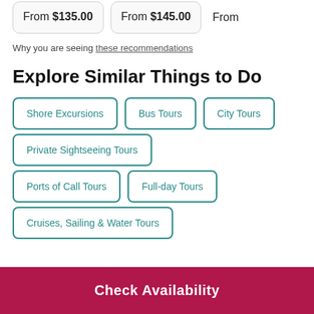From $135.00
From $145.00
From
Why you are seeing these recommendations
Explore Similar Things to Do
Shore Excursions
Bus Tours
City Tours
Private Sightseeing Tours
Ports of Call Tours
Full-day Tours
Cruises, Sailing & Water Tours
Check Availability